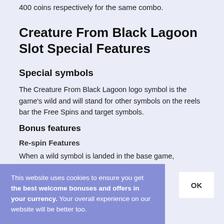400 coins respectively for the same combo.
Creature From Black Lagoon Slot Special Features
Special symbols
The Creature From Black Lagoon logo symbol is the game's wild and will stand for other symbols on the reels bar the Free Spins and target symbols.
Bonus features
Re-spin Features
When a wild symbol is landed in the base game,
This website uses cookies to ensure you get the best welcome bonuses and offers in your currency. Your overall experience on our website will be better too.